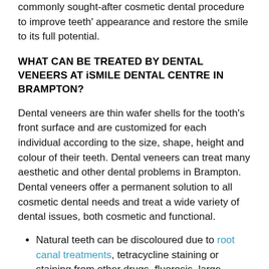commonly sought-after cosmetic dental procedure to improve teeth' appearance and restore the smile to its full potential.
WHAT CAN BE TREATED BY DENTAL VENEERS AT iSMILE DENTAL CENTRE IN BRAMPTON?
Dental veneers are thin wafer shells for the tooth's front surface and are customized for each individual according to the size, shape, height and colour of their teeth. Dental veneers can treat many aesthetic and other dental problems in Brampton. Dental veneers offer a permanent solution to all cosmetic dental needs and treat a wide variety of dental issues, both cosmetic and functional.
Natural teeth can be discoloured due to root canal treatments, tetracycline staining or staining from other drugs, fluorosis, large dental cavities and fillings. Dental veneers at iSMILE DENTAL CENTRE in Brampton can fix these stains and restore your teeth' appearance.
Teeth that are worn down due to the effect of the oral environment and gut health issues like acid reflux can also be effectively restored with dental veneers in Brampton.
Bruxism can cause attrition of the teeth and ruin their